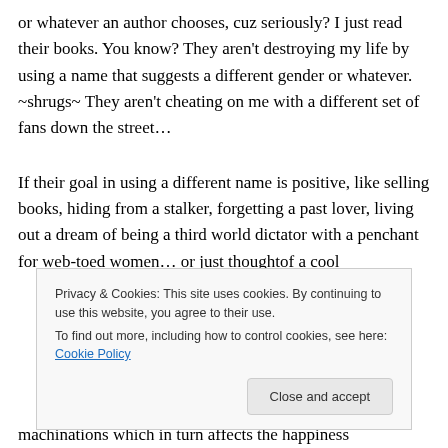or whatever an author chooses, cuz seriously? I just read their books. You know? They aren't destroying my life by using a name that suggests a different gender or whatever. ~shrugs~ They aren't cheating on me with a different set of fans down the street…
If their goal in using a different name is positive, like selling books, hiding from a stalker, forgetting a past lover, living out a dream of being a third world dictator with a penchant for web-toed women… or just thoughtof a cool
Privacy & Cookies: This site uses cookies. By continuing to use this website, you agree to their use.
To find out more, including how to control cookies, see here: Cookie Policy
machinations which in turn affects the happiness